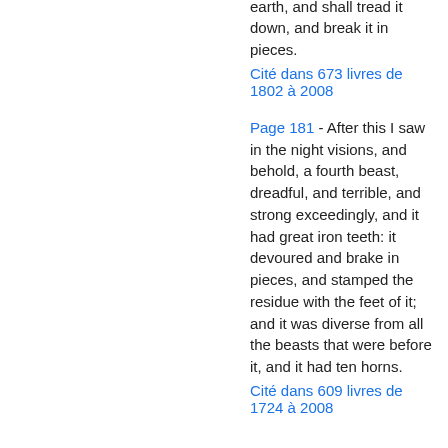diverse from all kingdoms, and shall devour the whole earth, and shall tread it down, and break it in pieces.
Cité dans 673 livres de 1802 à 2008
Page 181 - After this I saw in the night visions, and behold, a fourth beast, dreadful, and terrible, and strong exceedingly, and it had great iron teeth: it devoured and brake in pieces, and stamped the residue with the feet of it; and it was diverse from all the beasts that were before it, and it had ten horns.
Cité dans 609 livres de 1724 à 2008